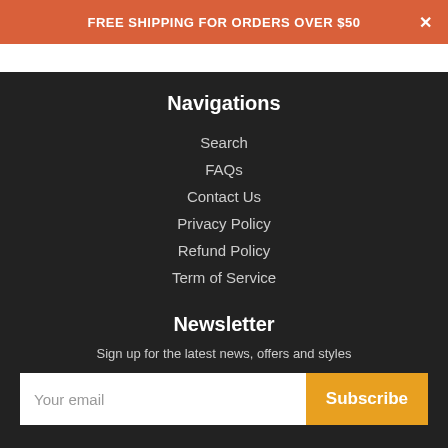FREE SHIPPING FOR ORDERS OVER $50
Navigations
Search
FAQs
Contact Us
Privacy Policy
Refund Policy
Term of Service
Newsletter
Sign up for the latest news, offers and styles